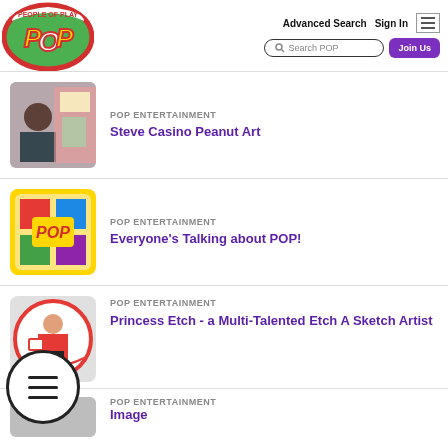People of Play (POP) — Advanced Search | Sign In | Search POP | Join Us
POP ENTERTAINMENT
Steve Casino Peanut Art
POP ENTERTAINMENT
Everyone's Talking about POP!
POP ENTERTAINMENT
Princess Etch - a Multi-Talented Etch A Sketch Artist
POP ENTERTAINMENT
Image